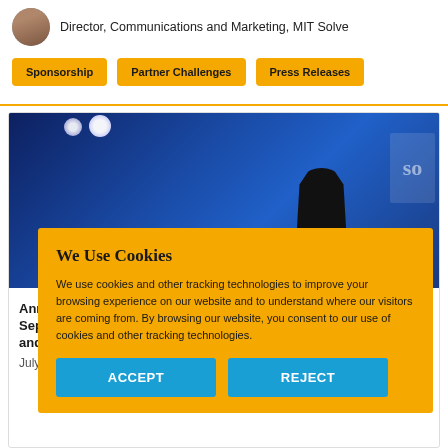Director, Communications and Marketing, MIT Solve
Sponsorship
Partner Challenges
Press Releases
[Figure (photo): Person standing on a blue-curtained stage with stage lighting, with a partially visible logo on the right side]
Ann
Sep
and
July 7, 2020
We Use Cookies
We use cookies and other tracking technologies to improve your browsing experience on our website and to understand where our visitors are coming from. By browsing our website, you consent to our use of cookies and other tracking technologies.
ACCEPT
REJECT